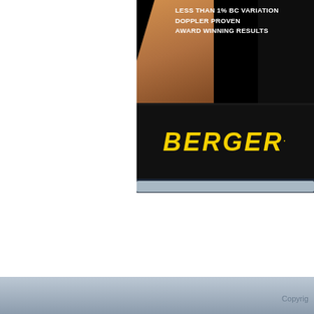[Figure (advertisement): Berger Bullets advertisement with bullet image, text LESS THAN 1% BC VARIATION, DOPPLER PROVEN, AWARD WINNING RESULTS, and yellow Berger logo on black background]
[Figure (advertisement): Shooters Forum advertisement with red bold text Shooters Forum, gun image, gold text FREE Classifieds]
Advertising
Contact Us
Submit Stories
Privacy Policy
Copyright
u
n't load